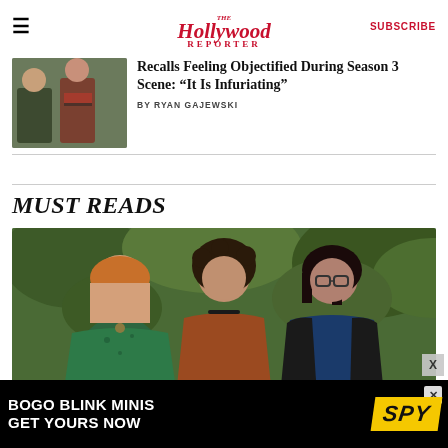The Hollywood Reporter — SUBSCRIBE
Recalls Feeling Objectified During Season 3 Scene: “It Is Infuriating”
BY RYAN GAJEWSKI
MUST READS
[Figure (photo): Three women standing outdoors in front of green foliage. Left woman wears a green floral wrap dress. Center woman wears a rust/brown top. Right woman wears a navy blue top with a black jacket.]
[Figure (infographic): Advertisement banner: BOGO BLINK MINIS GET YOURS NOW with SPY logo in yellow on black background]